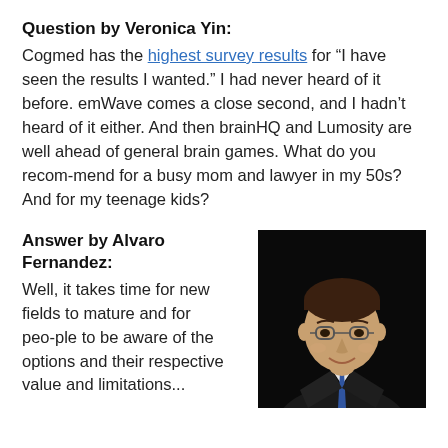Question by Veronica Yin:
Cogmed has the highest survey results for “I have seen the results I wanted.” I had never heard of it before. emWave comes a close second, and I hadn’t heard of it either. And then brainHQ and Lumosity are well ahead of general brain games. What do you recommend for a busy mom and lawyer in my 50s? And for my teenage kids?
Answer by Alvaro Fernandez:
Well, it takes time for new fields to mature and for people to be aware of the options and their respective value and limitations...
[Figure (photo): Portrait photo of Alvaro Fernandez, a man wearing glasses and a suit with a blue tie, smiling, against a dark background.]